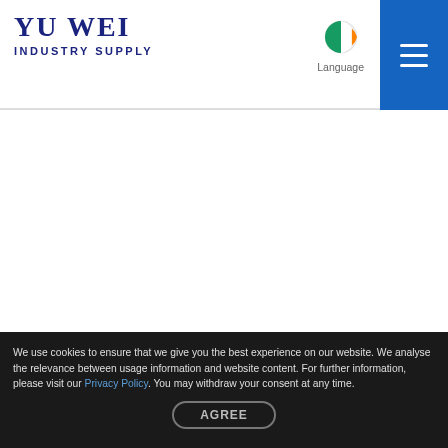YU WEI INDUSTRY SUPPLY
We use cookies to ensure that we give you the best experience on our website. We analyse the relevance between usage information and website content. For further information, please visit our Privacy Policy. You may withdraw your consent at any time.
AGREE